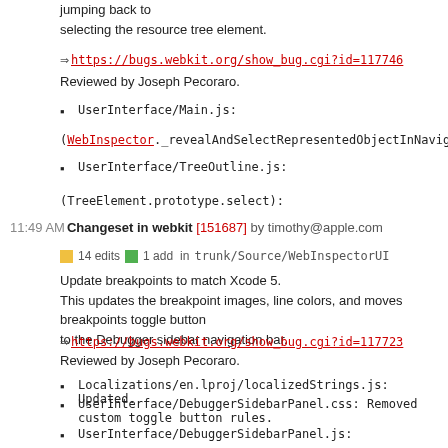jumping back to
selecting the resource tree element.
https://bugs.webkit.org/show_bug.cgi?id=117746
Reviewed by Joseph Pecoraro.
UserInterface/Main.js:
(WebInspector._revealAndSelectRepresentedObjectInNavigationSidebar):
UserInterface/TreeOutline.js:
(TreeElement.prototype.select):
11:49 AM Changeset in webkit [151687] by timothy@apple.com
14 edits  1 add  in trunk/Source/WebInspectorUI
Update breakpoints to match Xcode 5.
This updates the breakpoint images, line colors, and moves breakpoints toggle button
to the Debugger sidebar navigation bar.
https://bugs.webkit.org/show_bug.cgi?id=117723
Reviewed by Joseph Pecoraro.
Localizations/en.lproj/localizedStrings.js: Updated.
UserInterface/DebuggerSidebarPanel.css: Removed custom toggle button rules.
UserInterface/DebuggerSidebarPanel.js:
(WebInspector.DebuggerSidebarPanel):
(WebInspector.DebuggerSidebarPanel...)